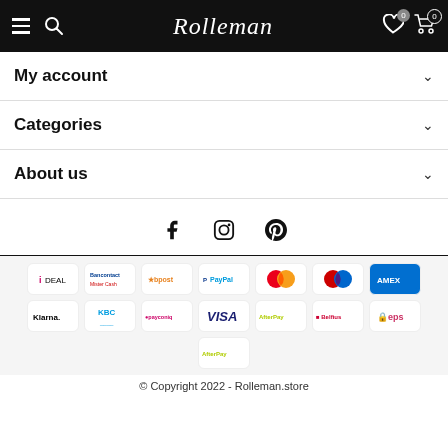Rolleman store header navigation with hamburger menu, search, logo, wishlist and cart
My account
Categories
About us
[Figure (infographic): Social media icons: Facebook, Instagram, Pinterest]
[Figure (infographic): Payment method logos: iDEAL, Bancontact/Mister Cash, Bpost, PayPal, Mastercard, Maestro, American Express, Klarna, KBC, Payconiq, VISA, AfterPay, Belfius, eps, AfterPay]
© Copyright 2022 - Rolleman.store